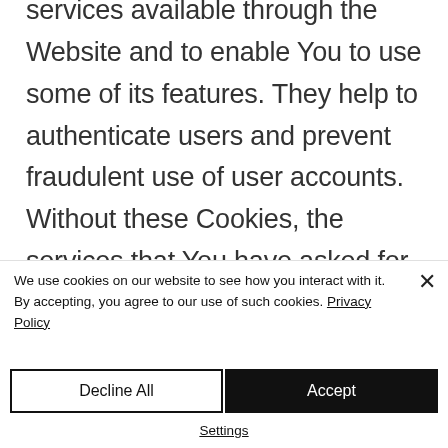services available through the Website and to enable You to use some of its features. They help to authenticate users and prevent fraudulent use of user accounts. Without these Cookies, the services that You have asked for cannot be provided, and We only use these Cookies to provide You with those services.
We use cookies on our website to see how you interact with it. By accepting, you agree to our use of such cookies. Privacy Policy
Decline All
Accept
Settings